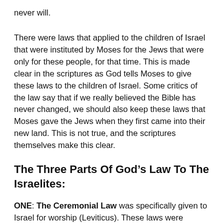never will.
There were laws that applied to the children of Israel that were instituted by Moses for the Jews that were only for these people, for that time. This is made clear in the scriptures as God tells Moses to give these laws to the children of Israel. Some critics of the law say that if we really believed the Bible has never changed, we should also keep these laws that Moses gave the Jews when they first came into their new land. This is not true, and the scriptures themselves make this clear.
The Three Parts Of God’s Law To The Israelites:
ONE: The Ceremonial Law was specifically given to Israel for worship (Leviticus). These laws were instituted for the purpose of preparing the Israelites for the time when their Messiah would arrive, and ended with the appearance of Jesus as the Messiah. These law described and regulated the procedure for sacrifices and the requirement that were necessary because of sin. The believer in Christ today, no